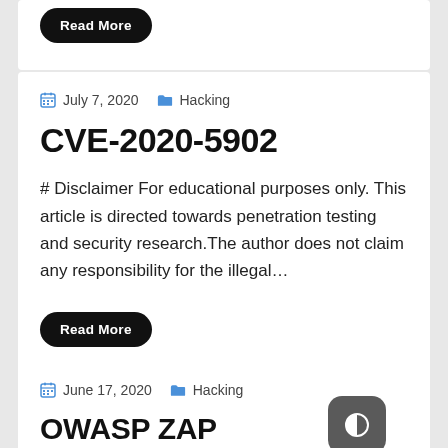Read More
July 7, 2020   Hacking
CVE-2020-5902
# Disclaimer For educational purposes only. This article is directed towards penetration testing and security research.The author does not claim any responsibility for the illegal…
Read More
June 17, 2020   Hacking
OWASP ZAP